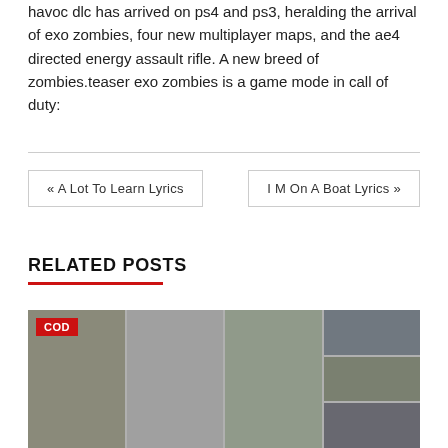havoc dlc has arrived on ps4 and ps3, heralding the arrival of exo zombies, four new multiplayer maps, and the ae4 directed energy assault rifle. A new breed of zombies.teaser exo zombies is a game mode in call of duty:
« A Lot To Learn Lyrics
I M On A Boat Lyrics »
RELATED POSTS
[Figure (photo): Grid of Call of Duty related images showing soldiers/characters and weapons, with a red COD badge in the top left corner]